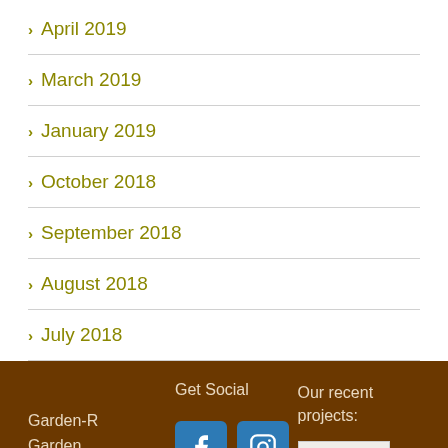April 2019
March 2019
January 2019
October 2018
September 2018
August 2018
July 2018
Garden-R Garden Maintenance | Get Social | Our recent projects: